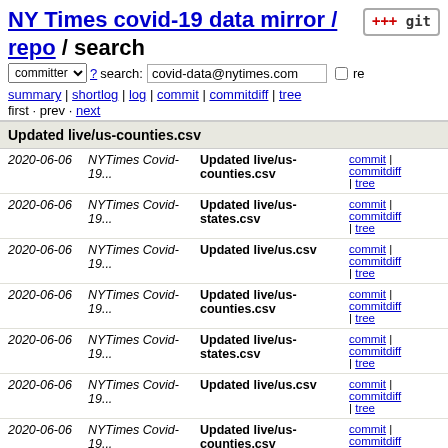NY Times covid-19 data mirror / repo / search
committer ? search: covid-data@nytimes.com re
summary | shortlog | log | commit | commitdiff | tree
first · prev · next
Updated live/us-counties.csv
| date | author | message | links |
| --- | --- | --- | --- |
| 2020-06-06 | NYTimes Covid-19... | Updated live/us-counties.csv | commit | commitdiff | tree |
| 2020-06-06 | NYTimes Covid-19... | Updated live/us-states.csv | commit | commitdiff | tree |
| 2020-06-06 | NYTimes Covid-19... | Updated live/us.csv | commit | commitdiff | tree |
| 2020-06-06 | NYTimes Covid-19... | Updated live/us-counties.csv | commit | commitdiff | tree |
| 2020-06-06 | NYTimes Covid-19... | Updated live/us-states.csv | commit | commitdiff | tree |
| 2020-06-06 | NYTimes Covid-19... | Updated live/us.csv | commit | commitdiff | tree |
| 2020-06-06 | NYTimes Covid-19... | Updated live/us-counties.csv | commit | commitdiff | tree |
| 2020-06-06 | NYTimes Covid-19... | Updated live/us-states.csv | commit | commitdiff | tree |
| 2020-06-06 | NYTimes Covid-19... | Updated live/us.csv | commit | commitdiff | tree |